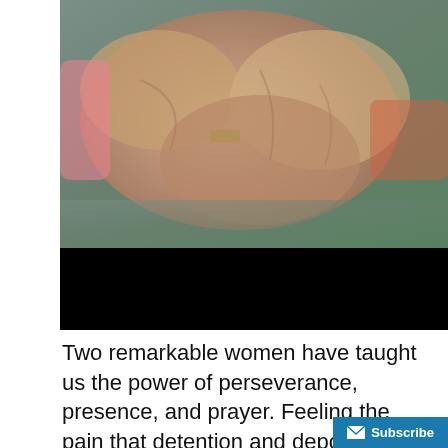[Figure (photo): Close-up photograph of elderly hands being held or touching, with warm skin tones. Below the photo is a solid black bar (likely a redacted caption or name area).]
Two remarkable women have taught us the power of perseverance, presence, and prayer. Feeling the pain that detention and deportation inflict not only on those caught within the system, but also upon their families, friends, and communities, Sisters Pat Murphy, RSM, and JoAnn Persch, RSM, have combined a compassionate spirit with a passionate advocacy for immigrant r